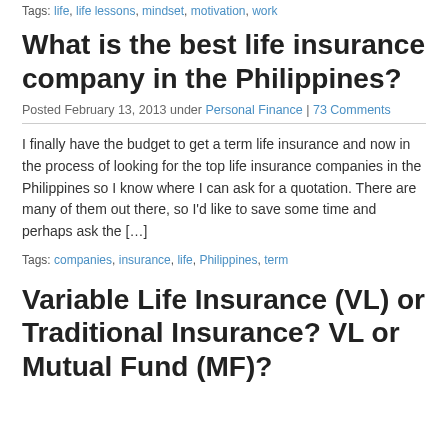Tags: life, life lessons, mindset, motivation, work
What is the best life insurance company in the Philippines?
Posted February 13, 2013 under Personal Finance | 73 Comments
I finally have the budget to get a term life insurance and now in the process of looking for the top life insurance companies in the Philippines so I know where I can ask for a quotation. There are many of them out there, so I'd like to save some time and perhaps ask the [...]
Tags: companies, insurance, life, Philippines, term
Variable Life Insurance (VL) or Traditional Insurance? VL or Mutual Fund (MF)?